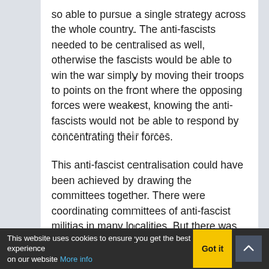so able to pursue a single strategy across the whole country. The anti-fascists needed to be centralised as well, otherwise the fascists would be able to win the war simply by moving their troops to points on the front where the opposing forces were weakest, knowing the anti-fascists would not be able to respond by concentrating their forces.
This anti-fascist centralisation could have been achieved by drawing the committees together. There were coordinating committees of anti-fascist militias in many localities. But there was no establishment of an all-Spanish committee of militias and workers' delegates comparable to the Russian soviets of 1917.
The reason for this failing lay in the politics of the workers' organisations. The most powerful, the anarcho-syndicalists, had always insisted that any centralisation of power would in themselvesarchie of...
This website uses cookies to ensure you get the best experience on our website More info